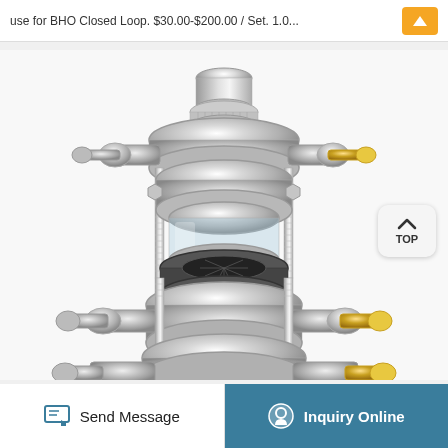use for BHO Closed Loop. $30.00-$200.00 / Set. 1.0...
[Figure (photo): Stainless steel BHO closed loop extraction component showing flanged clamps, tri-clamp fittings, threaded rods, a sight glass section, and a black rubber gasket/seal assembly. Multiple layers of flanges bolted together with threaded rods and hex nuts. One brass-colored fitting visible on the right side.]
Send Message
Inquiry Online